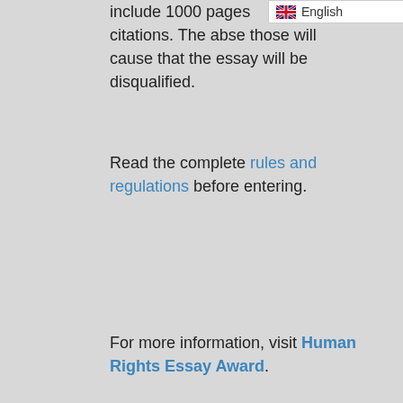include 1000 pages citations. The absence of those will cause that the essay will be disqualified.
[Figure (screenshot): Language selector widget showing English with a UK flag and dropdown arrow]
Read the complete rules and regulations before entering.
For more information, visit Human Rights Essay Award.